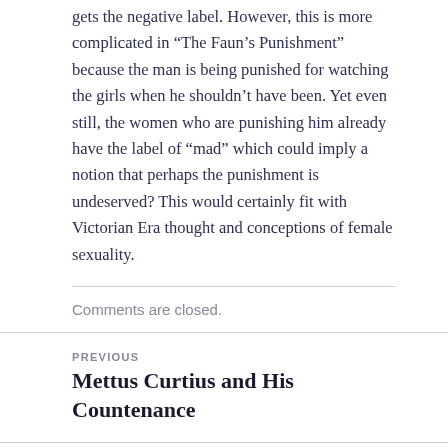gets the negative label. However, this is more complicated in “The Faun’s Punishment” because the man is being punished for watching the girls when he shouldn’t have been. Yet even still, the women who are punishing him already have the label of “mad” which could imply a notion that perhaps the punishment is undeserved? This would certainly fit with Victorian Era thought and conceptions of female sexuality.
Comments are closed.
PREVIOUS
Mettus Curtius and His Countenance
NEXT